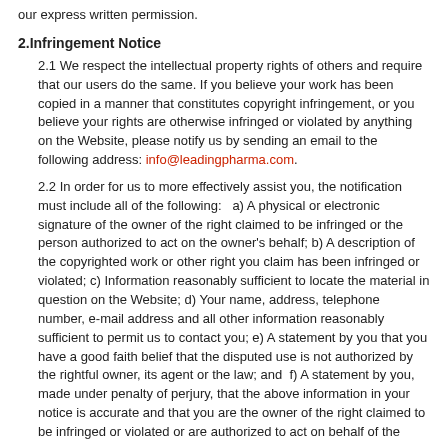our express written permission.
2.Infringement Notice
2.1 We respect the intellectual property rights of others and require that our users do the same. If you believe your work has been copied in a manner that constitutes copyright infringement, or you believe your rights are otherwise infringed or violated by anything on the Website, please notify us by sending an email to the following address: info@leadingpharma.com.
2.2 In order for us to more effectively assist you, the notification must include all of the following:   a) A physical or electronic signature of the owner of the right claimed to be infringed or the person authorized to act on the owner's behalf; b) A description of the copyrighted work or other right you claim has been infringed or violated; c) Information reasonably sufficient to locate the material in question on the Website; d) Your name, address, telephone number, e-mail address and all other information reasonably sufficient to permit us to contact you; e) A statement by you that you have a good faith belief that the disputed use is not authorized by the rightful owner, its agent or the law; and  f) A statement by you, made under penalty of perjury, that the above information in your notice is accurate and that you are the owner of the right claimed to be infringed or violated or are authorized to act on behalf of the owner.
3. Errors and Inaccuracies